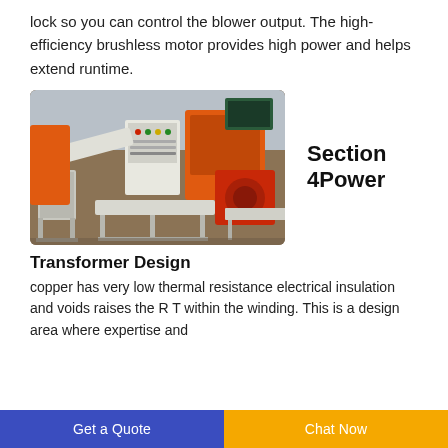lock so you can control the blower output. The high-efficiency brushless motor provides high power and helps extend runtime.
[Figure (photo): Industrial machinery with white control panel and orange equipment in a factory setting]
Section 4Power
Transformer Design
copper has very low thermal resistance electrical insulation and voids raises the R T within the winding. This is a design area where expertise and